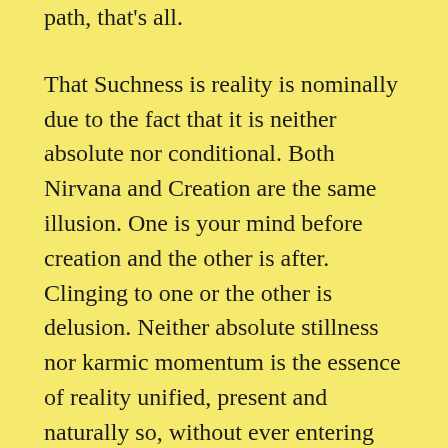path, that's all.
That Suchness is reality is nominally due to the fact that it is neither absolute nor conditional. Both Nirvana and Creation are the same illusion. One is your mind before creation and the other is after. Clinging to one or the other is delusion. Neither absolute stillness nor karmic momentum is the essence of reality unified, present and naturally so, without ever entering creation. This is your nature already.
Even those who experience sudden enlightenment must learn to realize this